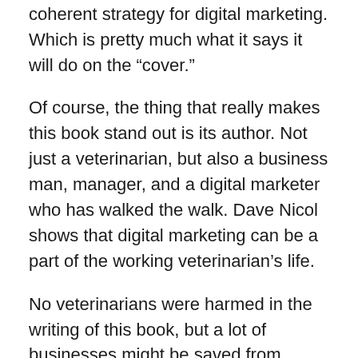reader, whether experienced or not, through each step of creating a coherent strategy for digital marketing. Which is pretty much what it says it will do on the “cover.”
Of course, the thing that really makes this book stand out is its author. Not just a veterinarian, but also a business man, manager, and a digital marketer who has walked the walk. Dave Nicol shows that digital marketing can be a part of the working veterinarian’s life.
No veterinarians were harmed in the writing of this book, but a lot of businesses might be saved from painful, or useless, forays in the the social media world by reading it and taking its advice to heart.
(Clicking on the cover above will take you to the book’s Amazon page and contribute to my book buying habit / problem.)